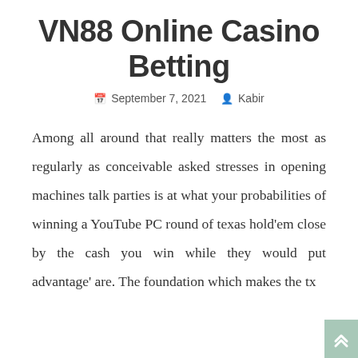VN88 Online Casino Betting
September 7, 2021  Kabir
Among all around that really matters the most as regularly as conceivable asked stresses in opening machines talk parties is at what your probabilities of winning a YouTube PC round of texas hold'em close by the cash you win while they would put advantage' are. The foundation which makes the tx